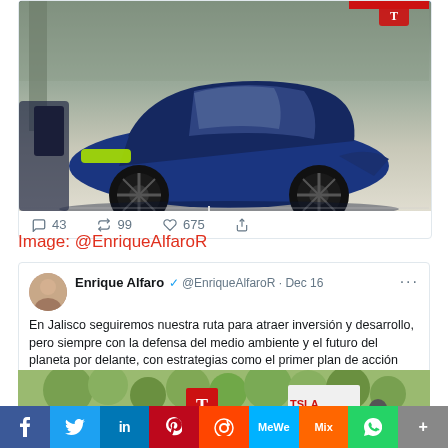[Figure (photo): Blue Tesla Model X SUV parked in a covered parking area]
43  99  675 (social stats: reply, retweet, like, share)
Image: @EnriqueAlfaroR
[Figure (screenshot): Tweet from Enrique Alfaro (@EnriqueAlfaroR) dated Dec 16 with text about Jalisco's environmental strategy, followed by a photo of Tesla signs]
Enrique Alfaro @EnriqueAlfaroR · Dec 16
En Jalisco seguiremos nuestra ruta para atraer inversión y desarrollo, pero siempre con la defensa del medio ambiente y el futuro del planeta por delante, con estrategias como el primer plan de acción climática de una metrópoli en América Latina que presentamos hace unos días.